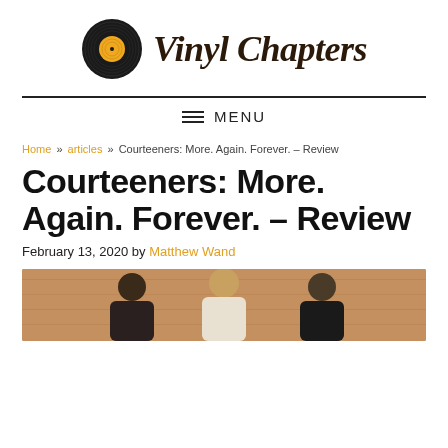[Figure (logo): Vinyl Chapters logo: vinyl record icon with orange label center, beside italic serif text 'Vinyl Chapters' in dark brown]
≡  MENU
Home » articles » Courteeners: More. Again. Forever. – Review
Courteeners: More. Again. Forever. – Review
February 13, 2020 by Matthew Wand
[Figure (photo): Photo of three men standing against a wooden/warm tan background, partially visible at bottom of page]